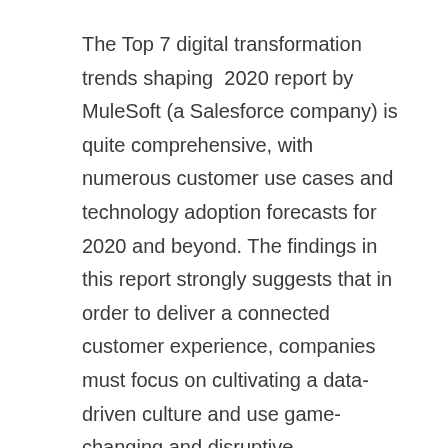The Top 7 digital transformation trends shaping 2020 report by MuleSoft (a Salesforce company) is quite comprehensive, with numerous customer use cases and technology adoption forecasts for 2020 and beyond. The findings in this report strongly suggests that in order to deliver a connected customer experience, companies must focus on cultivating a data-driven culture and use game-changing and disruptive technologies like machine learning and AI, in multi-cloud environments, to accelerate and amplify co-creation of value within their ecosystems by strongly partnering with IT to better leverage the awesome power of applications networks.